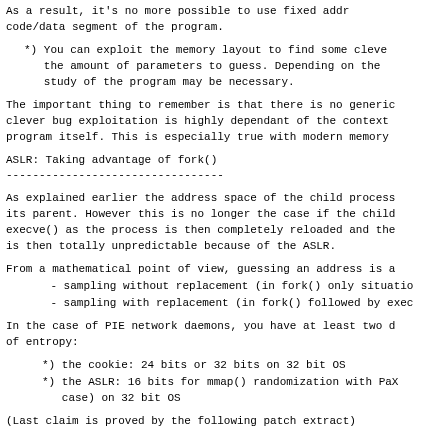As a result, it's no more possible to use fixed addr
code/data segment of the program.
*) You can exploit the memory layout to find some cleve
   the amount of parameters to guess. Depending on the
   study of the program may be necessary.
The important thing to remember is that there is no generic
clever bug exploitation is highly dependant of the context
program itself. This is especially true with modern memory
ASLR: Taking advantage of fork()
--------------------------------
As explained earlier the address space of the child process
its parent. However this is no longer the case if the child
execve() as the process is then completely reloaded and the
is then totally unpredictable because of the ASLR.
From a mathematical point of view, guessing an address is a
- sampling without replacement (in fork() only situatio
- sampling with replacement (in fork() followed by exec
In the case of PIE network daemons, you have at least two d
of entropy:
*) the cookie: 24 bits or 32 bits on 32 bit OS
*) the ASLR: 16 bits for mmap() randomization with PaX
   case) on 32 bit OS
(Last claim is proved by the following patch extract)